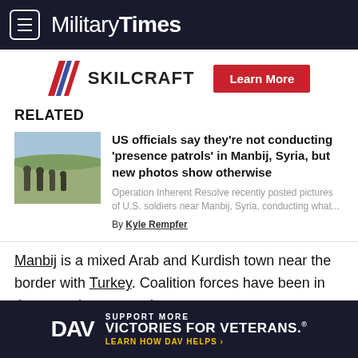Military Times
[Figure (logo): SKILCRAFT logo with red/blue chevron graphic and Learn More button]
RELATED
[Figure (photo): Thumbnail photo of soldiers in field near Manbij Syria]
US officials say they're not conducting 'presence patrols' in Manbij, Syria, but new photos show otherwise
Operation Inherent Resolve recently posted pictures of U.S. soldiers near Manbij, Syria, conducting what...
By Kyle Rempfer
Manbij is a mixed Arab and Kurdish town near the border with Turkey. Coalition forces have been in the area since around
[Figure (logo): DAV ad banner - Support More Victories for Veterans]